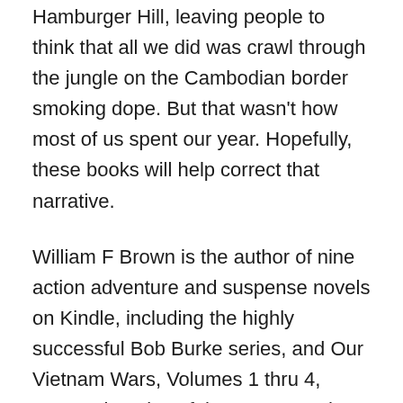Hamburger Hill, leaving people to think that all we did was crawl through the jungle on the Cambodian border smoking dope. But that wasn't how most of us spent our year. Hopefully, these books will help correct that narrative.
William F Brown is the author of nine action adventure and suspense novels on Kindle, including the highly successful Bob Burke series, and Our Vietnam Wars, Volumes 1 thru 4, personal stories of the veterans who served there. His ministry and suspense novels include 'The Undertaker,' 'Amongst My Enemies,' 'Thursday at Noon,' 'Aim True, My Brothers,'